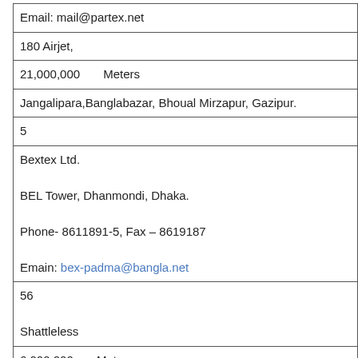| Email: mail@partex.net |
| 180 Airjet, |
| 21,000,000      Meters |
| Jangalipara,Banglabazar, Bhoual Mirzapur, Gazipur. |
| 5 |
| Bextex Ltd.

BEL Tower, Dhanmondi, Dhaka.

Phone- 8611891-5, Fax – 8619187

Emain: bex-padma@bangla.net |
| 56

Shattleless |
| 6,000,000        Meter |
| Sarabo, Kashimpur, Gazipur. |
| 6 |
| Bengal Indigo Ltd. |